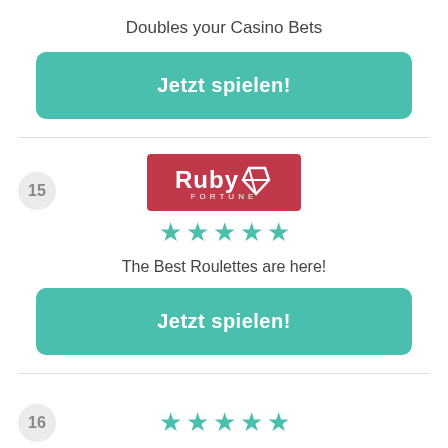Doubles your Casino Bets
[Figure (other): Green button with text 'Jetzt spielen!']
[Figure (logo): Ruby Fortune casino logo - red rectangle with white text]
[Figure (other): 5 teal/green stars rating]
The Best Roulettes are here!
[Figure (other): Green button with text 'Jetzt spielen!']
16
[Figure (other): 5 teal/green stars rating (partial view at bottom)]